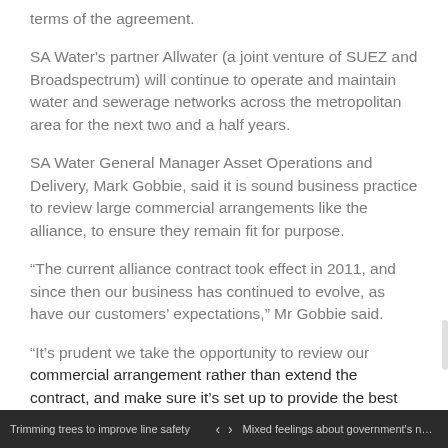terms of the agreement.
SA Water's partner Allwater (a joint venture of SUEZ and Broadspectrum) will continue to operate and maintain water and sewerage networks across the metropolitan area for the next two and a half years.
SA Water General Manager Asset Operations and Delivery, Mark Gobbie, said it is sound business practice to review large commercial arrangements like the alliance, to ensure they remain fit for purpose.
“The current alliance contract took effect in 2011, and since then our business has continued to evolve, as have our customers’ expectations,” Mr Gobbie said.
“It’s prudent we take the opportunity to review our commercial arrangement rather than extend the contract, and make sure it’s set up to provide the best benefits for our
Trimming trees to improve line safety   ‹  ›   Mixed feelings about government’s new e…